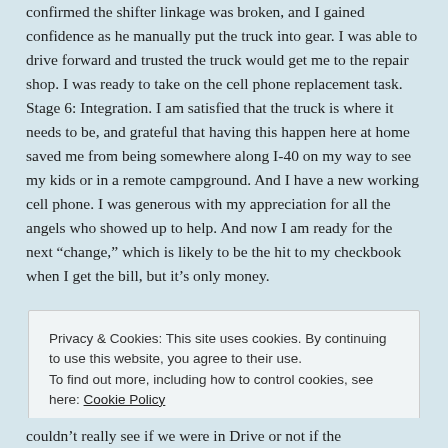confirmed the shifter linkage was broken, and I gained confidence as he manually put the truck into gear. I was able to drive forward and trusted the truck would get me to the repair shop. I was ready to take on the cell phone replacement task. Stage 6: Integration. I am satisfied that the truck is where it needs to be, and grateful that having this happen here at home saved me from being somewhere along I-40 on my way to see my kids or in a remote campground. And I have a new working cell phone. I was generous with my appreciation for all the angels who showed up to help. And now I am ready for the next “change,” which is likely to be the hit to my checkbook when I get the bill, but it’s only money.
Privacy & Cookies: This site uses cookies. By continuing to use this website, you agree to their use.
To find out more, including how to control cookies, see here: Cookie Policy
Close and accept
couldn’t really see if we were in Drive or not if the